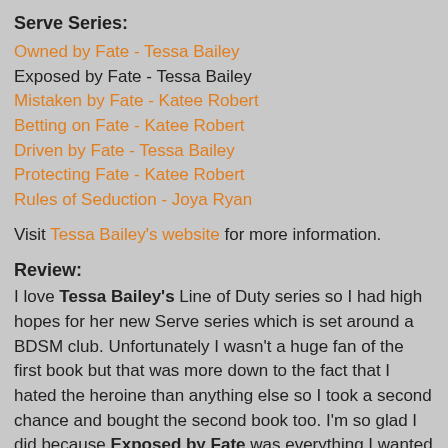Serve Series:
Owned by Fate - Tessa Bailey
Exposed by Fate - Tessa Bailey
Mistaken by Fate - Katee Robert
Betting on Fate - Katee Robert
Driven by Fate - Tessa Bailey
Protecting Fate - Katee Robert
Rules of Seduction - Joya Ryan
Visit Tessa Bailey's website for more information.
Review:
I love Tessa Bailey's Line of Duty series so I had high hopes for her new Serve series which is set around a BDSM club. Unfortunately I wasn't a huge fan of the first book but that was more down to the fact that I hated the heroine than anything else so I took a second chance and bought the second book too. I'm so glad I did because Exposed by Fate was everything I wanted from Owned by Fate and more, in fact I think I now have a new favourite Tessa Bailey hero in Oliver, he was absolutely fabulous!